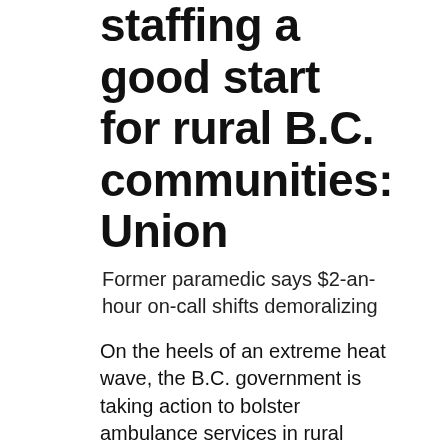staﬃng a good start for rural B.C. communities: Union
Former paramedic says $2-an-hour on-call shifts demoralizing
On the heels of an extreme heat wave, the B.C. government is taking action to bolster ambulance services in rural communities.
On July 14, B.C. Minister of Health Adrian Dix announced BC Emergency Health Services (BCEHS) will be increasing the number of full-time paramedics, dispatchers and ambulances in the province. The announcement followed a surge in 911 calls related to the recent heat wave and blockchain communities...